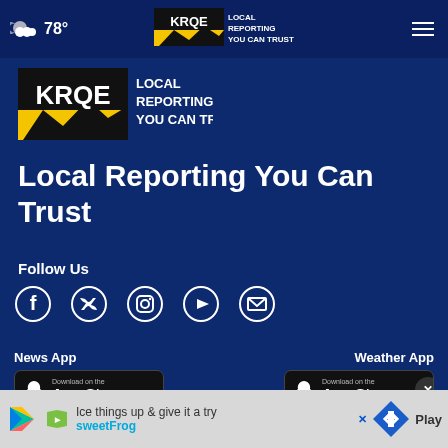☁ 78° | KRQE LOCAL REPORTING YOU CAN TRUST | ≡
[Figure (logo): KRQE LOCAL REPORTING YOU CAN TRUST logo - yellow and black with white text]
Local Reporting You Can Trust
Follow Us
[Figure (infographic): Social media icons: Facebook, Twitter, Instagram, YouTube, Email]
News App
[Figure (screenshot): Download on the App Store button]
Weather App
[Figure (screenshot): Download on the App Store button with close X overlay]
[Figure (other): Advertisement banner: sweetFrog - Ice things up & give it a try]
[Figure (screenshot): Google Play download button (partial)]